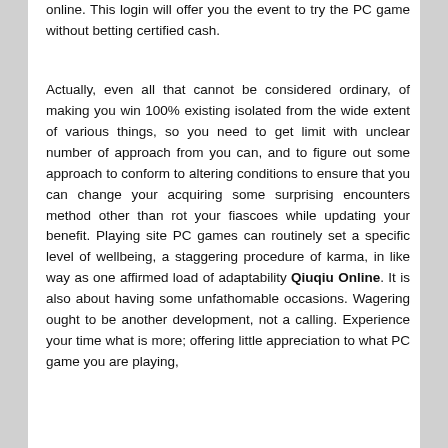online. This login will offer you the event to try the PC game without betting certified cash.
Actually, even all that cannot be considered ordinary, of making you win 100% existing isolated from the wide extent of various things, so you need to get limit with unclear number of approach from you can, and to figure out some approach to conform to altering conditions to ensure that you can change your acquiring some surprising encounters method other than rot your fiascoes while updating your benefit. Playing site PC games can routinely set a specific level of wellbeing, a staggering procedure of karma, in like way as one affirmed load of adaptability Qiuqiu Online. It is also about having some unfathomable occasions. Wagering ought to be another development, not a calling. Experience your time what is more; offering little appreciation to what PC game you are playing,